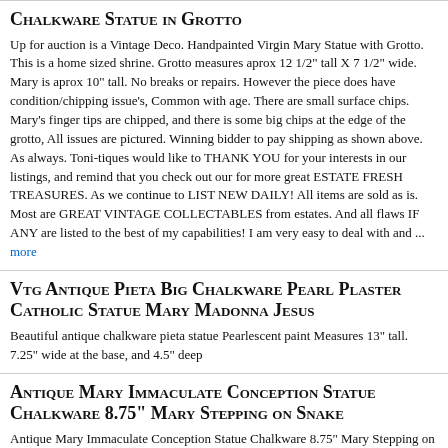Chalkware Statue in Grotto
Up for auction is a Vintage Deco. Handpainted Virgin Mary Statue with Grotto. This is a home sized shrine. Grotto measures aprox 12 1/2" tall X 7 1/2" wide. Mary is aprox 10" tall. No breaks or repairs. However the piece does have condition/chipping issue's, Common with age. There are small surface chips. Mary's finger tips are chipped, and there is some big chips at the edge of the grotto, All issues are pictured. Winning bidder to pay shipping as shown above. As always. Toni-tiques would like to THANK YOU for your interests in our listings, and remind that you check out our for more great ESTATE FRESH TREASURES. As we continue to LIST NEW DAILY! All items are sold as is. Most are GREAT VINTAGE COLLECTABLES from estates. And all flaws IF ANY are listed to the best of my capabilities! I am very easy to deal with and ... more
Vtg Antique Pieta Big Chalkware Pearl Plaster Catholic Statue Mary Madonna Jesus
Beautiful antique chalkware pieta statue Pearlescent paint Measures 13" tall. 7.25" wide at the base, and 4.5" deep
Antique Mary Immaculate Conception Statue Chalkware 8.75" Mary Stepping on Snake
Antique Mary Immaculate Conception Statue Chalkware 8.75" Mary Stepping on Snake Bought this from an estate sale. Very old house Did some research its from early 18th century to end of 19th century It has few paint chipping which is normal for its age but no breakage/cracks or repair. 8.75" Tall 4" Wide This is a chalkware statue Chalkware was